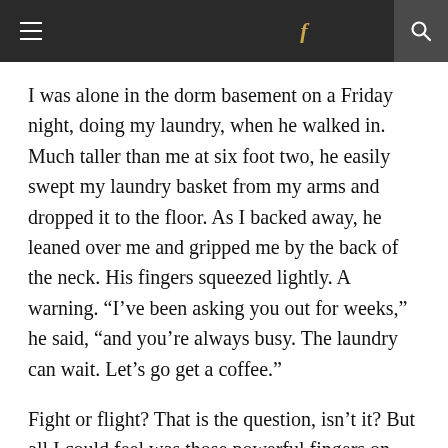≡  f  🔍
I was alone in the dorm basement on a Friday night, doing my laundry, when he walked in. Much taller than me at six foot two, he easily swept my laundry basket from my arms and dropped it to the floor. As I backed away, he leaned over me and gripped me by the back of the neck. His fingers squeezed lightly. A warning. “I’ve been asking you out for weeks,” he said, “and you’re always busy. The laundry can wait. Let’s go get a coffee.”
Fight or flight? That is the question, isn’t it? But all I could feel was those powerful fingers on my neck as if I found being...